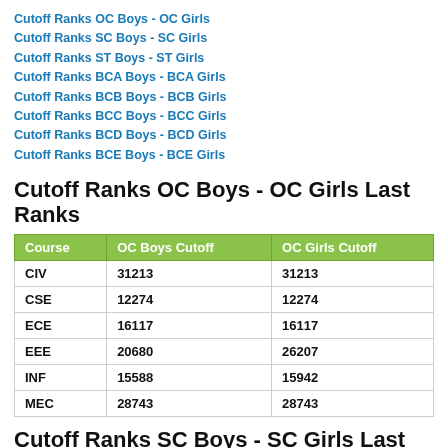Cutoff Ranks OC Boys - OC Girls
Cutoff Ranks SC Boys - SC Girls
Cutoff Ranks ST Boys - ST Girls
Cutoff Ranks BCA Boys - BCA Girls
Cutoff Ranks BCB Boys - BCB Girls
Cutoff Ranks BCC Boys - BCC Girls
Cutoff Ranks BCD Boys - BCD Girls
Cutoff Ranks BCE Boys - BCE Girls
Cutoff Ranks OC Boys - OC Girls Last Ranks
| Course | OC Boys Cutoff | OC Girls Cutoff |
| --- | --- | --- |
| CIV | 31213 | 31213 |
| CSE | 12274 | 12274 |
| ECE | 16117 | 16117 |
| EEE | 20680 | 26207 |
| INF | 15588 | 15942 |
| MEC | 28743 | 28743 |
Cutoff Ranks SC Boys - SC Girls Last Ranks
| Course | SC Boys Cutoff | SC Girls Cutoff |
| --- | --- | --- |
| CIV | 86717 | 86717 |